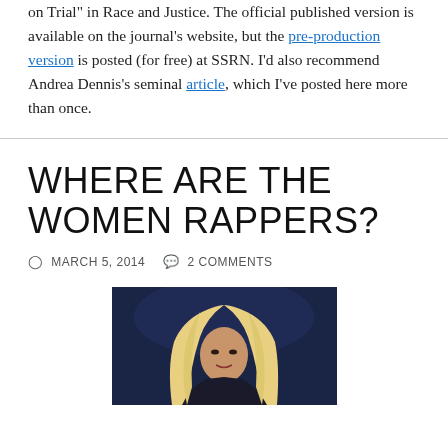on Trial" in Race and Justice. The official published version is available on the journal's website, but the pre-production version is posted (for free) at SSRN. I'd also recommend Andrea Dennis's seminal article, which I've posted here more than once.
WHERE ARE THE WOMEN RAPPERS?
MARCH 5, 2014   2 COMMENTS
[Figure (photo): Photo of a woman with long blonde hair performing on a dark stage, shown from the shoulders up against a dark blue background.]